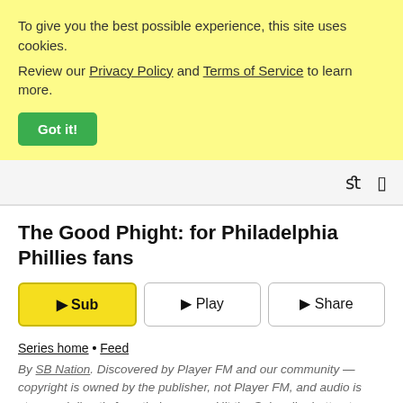To give you the best possible experience, this site uses cookies. Review our Privacy Policy and Terms of Service to learn more. Got it!
[Figure (screenshot): Navigation bar with search and menu icons on the right side]
The Good Phight: for Philadelphia Phillies fans
Sub  Play  Share
Series home • Feed
By SB Nation. Discovered by Player FM and our community — copyright is owned by the publisher, not Player FM, and audio is streamed directly from their servers. Hit the Subscribe button to track updates in Player FM, or paste the feed URL into other podcast apps.